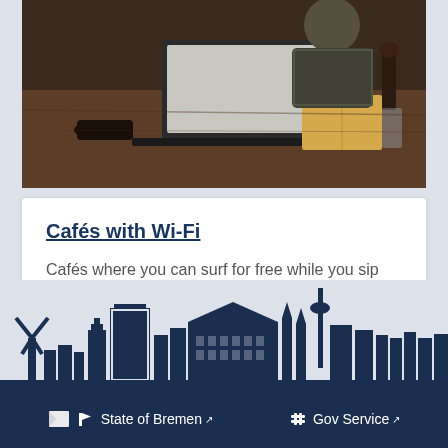[Figure (photo): Person working on a laptop in a café setting, dark wood table, open book, coffee cup visible]
Cafés with Wi-Fi
Cafés where you can surf for free while you sip your coffee
Quelle: Fotolia/rawpixel.com
[Figure (illustration): Bremen city skyline silhouette in dark navy blue showing windmill, historic buildings, tower, and modern structures]
State of Bremen  Gov Service